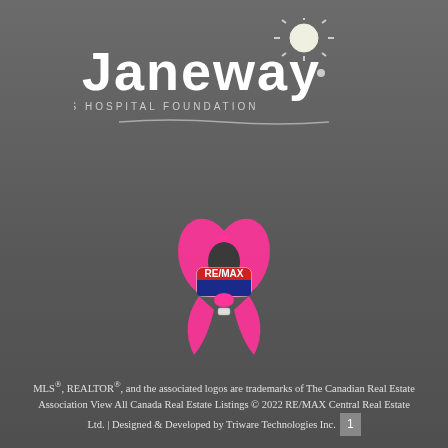[Figure (logo): Janeway Children's Hospital Foundation logo with sun graphic and handwritten-style text, with underline decoration]
[Figure (photo): RE/MAX branded pink awareness ribbon pin/badge with the RE/MAX hot air balloon logo in the center of the ribbon]
MLS®, REALTOR®, and the associated logos are trademarks of The Canadian Real Estate Association View All Canada Real Estate Listings © 2022 RE/MAX Central Real Estate Ltd. | Designed & Developed by Triware Technologies Inc.